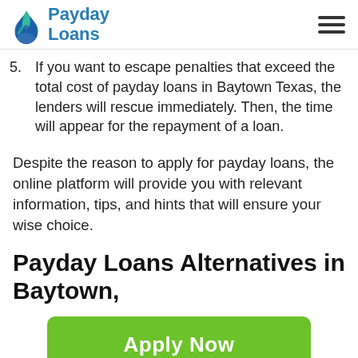Payday Loans
5. If you want to escape penalties that exceed the total cost of payday loans in Baytown Texas, the lenders will rescue immediately. Then, the time will appear for the repayment of a loan.
Despite the reason to apply for payday loans, the online platform will provide you with relevant information, tips, and hints that will ensure your wise choice.
Payday Loans Alternatives in Baytown,
[Figure (other): Apply Now button (green) with text 'Applying does NOT affect your credit score! No credit check to apply.']
Applying does NOT affect your credit score!
No credit check to apply.